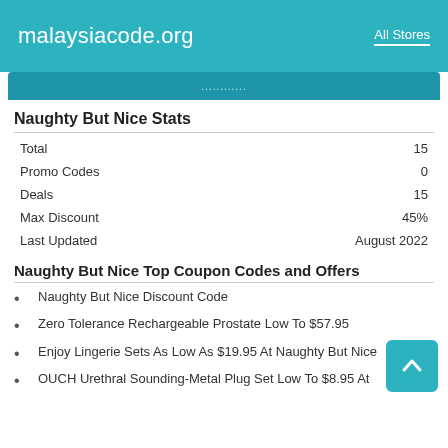malaysiacode.org   All Stores
Naughty But Nice Stats
|  |  |
| --- | --- |
| Total | 15 |
| Promo Codes | 0 |
| Deals | 15 |
| Max Discount | 45% |
| Last Updated | August 2022 |
Naughty But Nice Top Coupon Codes and Offers
Naughty But Nice Discount Code
Zero Tolerance Rechargeable Prostate Low To $57.95
Enjoy Lingerie Sets As Low As $19.95 At Naughty But Nice
OUCH Urethral Sounding-Metal Plug Set Low To $8.95 At